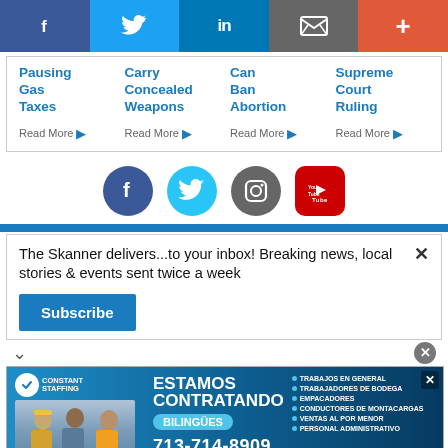[Figure (screenshot): Social share bar with Facebook, Twitter, LinkedIn, email, and plus buttons]
Pausing Gas Taxes — Read More
Carry Concealed Weapons — Read More
Can Ban Abortion — Read More
Supreme Court Ruling — Read More
[Figure (screenshot): Social media icons row: Facebook, Twitter, Instagram, YouTube]
The Skanner delivers...to your inbox! Breaking news, local stories & events sent twice a week
Subscribe
[Figure (infographic): Constant Staffing advertisement: ESTAMOS CONTRATANDO, BILINGUES, 713-714-8909, listing jobs including Trabajos en General, Trabajadores de Bodega, Empacadores, Conductores de Montacargas, Ventas al Por Menor, Personal Administrativo]